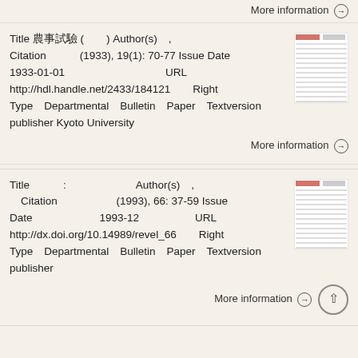More information →
Title 農事試驗 ( ) Author(s) , Citation (1933), 19(1): 70-77 Issue Date 1933-01-01 URL http://hdl.handle.net/2433/184121 Right Type Departmental Bulletin Paper Textversion publisher Kyoto University
More information →
Title : Author(s) , Citation (1993), 66: 37-59 Issue Date 1993-12 URL http://dx.doi.org/10.14989/revel_66 Right Type Departmental Bulletin Paper Textversion publisher
More information →